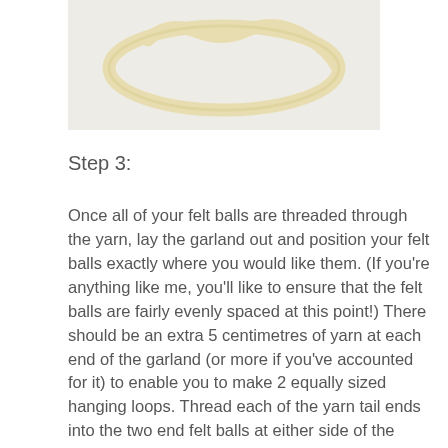[Figure (photo): A loop of cream/off-white yarn laid flat on a white surface, viewed from above, showing the yarn formed into an oval/loop shape.]
Step 3:
Once all of your felt balls are threaded through the yarn, lay the garland out and position your felt balls exactly where you would like them. (If you're anything like me, you'll like to ensure that the felt balls are fairly evenly spaced at this point!) There should be an extra 5 centimetres of yarn at each end of the garland (or more if you've accounted for it) to enable you to make 2 equally sized hanging loops. Thread each of the yarn tail ends into the two end felt balls at either side of the garland. Cut the excess yarn, and voila, you have a loop. Your garland should now be looking similar to this: